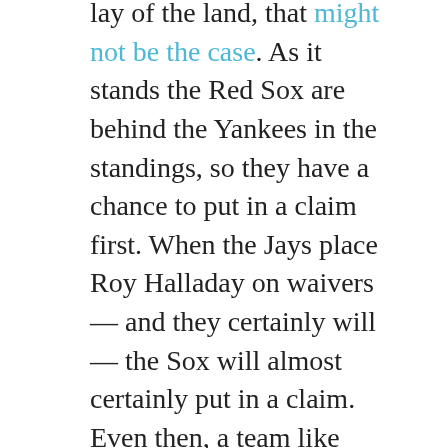lay of the land, that might not be the case. As it stands the Red Sox are behind the Yankees in the standings, so they have a chance to put in a claim first. When the Jays place Roy Halladay on waivers — and they certainly will — the Sox will almost certainly put in a claim. Even then, a team like Texas or Detroit might place their claim first, effectively cutting out the Sox. The pickings could be slim by the time it gets to the Yanks and Sox.
Still, there are some extraordinarily bad contracts out there and not even the Sox, with their relatively low payroll, will dare put in a claim. That could open the negotiating table for the Yankees to acquire that fifth starter they sought last week. Problem is, few if any of the potential options do the Yankees much good. Jon Heyman breaks down the players who will clear and who might